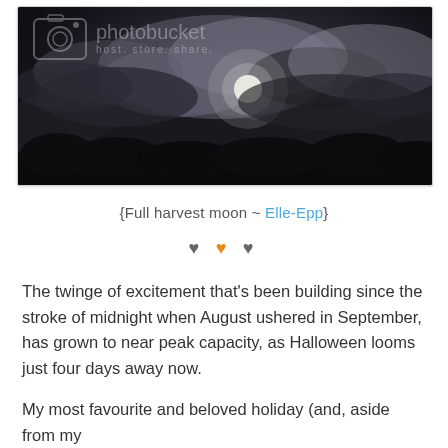[Figure (photo): Night sky photograph showing a full harvest moon partially obscured by dramatic dark clouds, with silhouetted tree branches visible at the bottom. A Photobucket watermark overlay appears in the upper left corner with a camera icon and the text 'photobucket host. store. share.']
{Full harvest moon ~ Elle-Epp}
♥ ♥ ♥
The twinge of excitement that's been building since the stroke of midnight when August ushered in September, has grown to near peak capacity, as Halloween looms just four days away now.
My most favourite and beloved holiday (and, aside from my